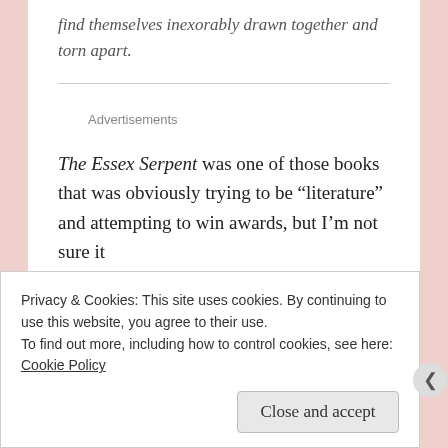find themselves inexorably drawn together and torn apart.
Advertisements
The Essex Serpent was one of those books that was obviously trying to be “literature” and attempting to win awards, but I’m not sure it
Privacy & Cookies: This site uses cookies. By continuing to use this website, you agree to their use.
To find out more, including how to control cookies, see here: Cookie Policy
Close and accept